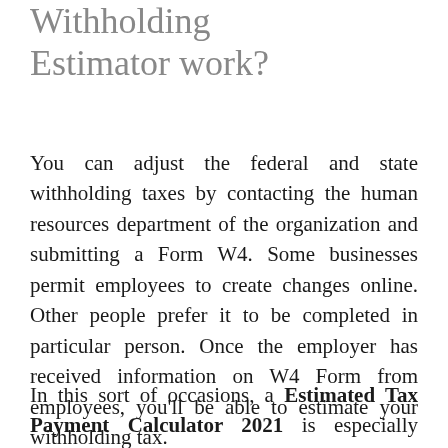Withholding Estimator work?
You can adjust the federal and state withholding taxes by contacting the human resources department of the organization and submitting a Form W4. Some businesses permit employees to create changes online. Other people prefer it to be completed in particular person. Once the employer has received information on W4 Form from employees, you'll be able to estimate your withholding tax.
In this sort of occasions, a Estimated Tax Payment Calculator 2021 is especially useful. You may also